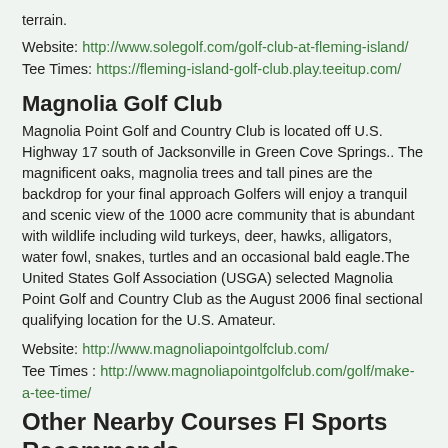terrain.
Website: http://www.solegolf.com/golf-club-at-fleming-island/
Tee Times: https://fleming-island-golf-club.play.teeitup.com/
Magnolia Golf Club
Magnolia Point Golf and Country Club is located off U.S. Highway 17 south of Jacksonville in Green Cove Springs.. The magnificent oaks, magnolia trees and tall pines are the backdrop for your final approach Golfers will enjoy a tranquil and scenic view of the 1000 acre community that is abundant with wildlife including wild turkeys, deer, hawks, alligators, water fowl, snakes, turtles and an occasional bald eagle.The United States Golf Association (USGA) selected Magnolia Point Golf and Country Club as the August 2006 final sectional qualifying location for the U.S. Amateur.
Website: http://www.magnoliapointgolfclub.com/
Tee Times : http://www.magnoliapointgolfclub.com/golf/make-a-tee-time/
Other Nearby Courses FI Sports Recommends
Eagle Landing Golf Club